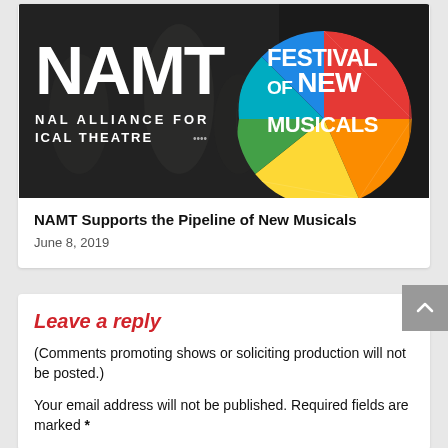[Figure (photo): NAMT banner image showing 'NAMT National Alliance for Musical Theatre' logo on left with performers in the background, and 'Festival of New Musicals' colorful circular logo on right]
NAMT Supports the Pipeline of New Musicals
June 8, 2019
Leave a reply
(Comments promoting shows or soliciting production will not be posted.)
Your email address will not be published. Required fields are marked *